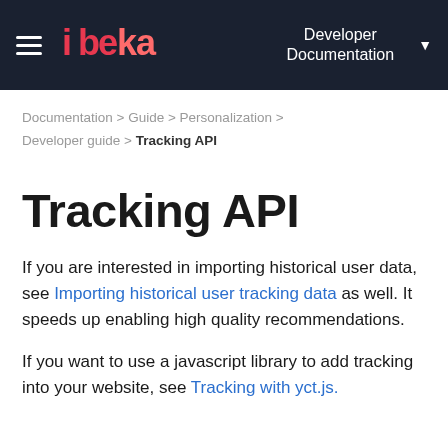ibeka | Developer Documentation
Documentation > Guide > Personalization > Developer guide > Tracking API
Tracking API
If you are interested in importing historical user data, see Importing historical user tracking data as well. It speeds up enabling high quality recommendations.
If you want to use a javascript library to add tracking into your website, see Tracking with yct.js.